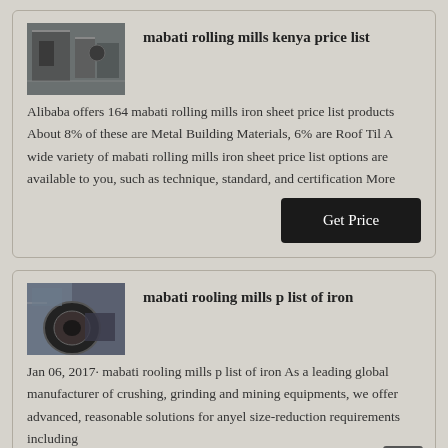[Figure (photo): Industrial rolling mill machinery photo]
mabati rolling mills kenya price list
Alibaba offers 164 mabati rolling mills iron sheet price list products About 8% of these are Metal Building Materials, 6% are Roof Til A wide variety of mabati rolling mills iron sheet price list options are available to you, such as technique, standard, and certification More
[Figure (photo): Industrial mill/boiler machinery photo]
mabati rooling mills p list of iron
Jan 06, 2017· mabati rooling mills p list of iron As a leading global manufacturer of crushing, grinding and mining equipments, we offer advanced, reasonable solutions for anyel size-reduction requirements including